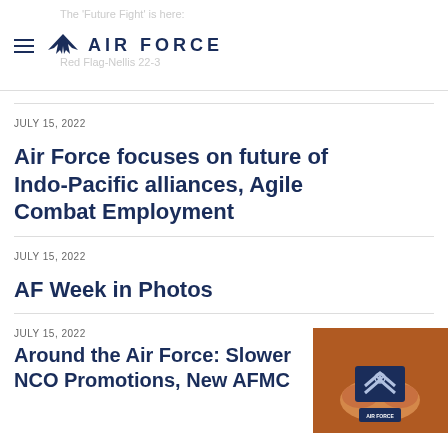AIR FORCE
JULY 15, 2022
Air Force focuses on future of Indo-Pacific alliances, Agile Combat Employment
JULY 15, 2022
AF Week in Photos
JULY 15, 2022
Around the Air Force: Slower NCO Promotions, New AFMC
[Figure (photo): Hands holding an Air Force NCO rank insignia patch, with 'AIR FORCE' branding visible]